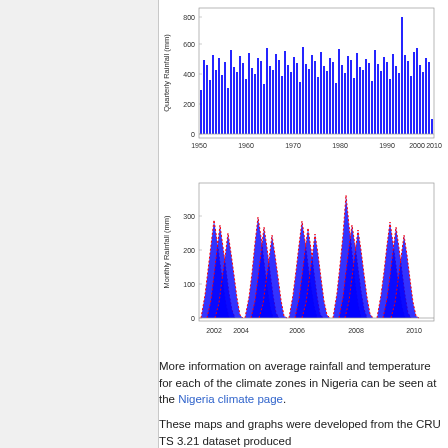[Figure (continuous-plot): Quarterly Rainfall (mm) bar chart from 1950 to 2010, blue bars, values ranging roughly 0-800mm]
[Figure (continuous-plot): Monthly Rainfall (mm) chart from 2002 to 2010, blue filled area with red dashed overlay, values ranging roughly 0-350mm, showing seasonal peaks]
More information on average rainfall and temperature for each of the climate zones in Nigeria can be seen at the Nigeria climate page.
These maps and graphs were developed from the CRU TS 3.21 dataset produced